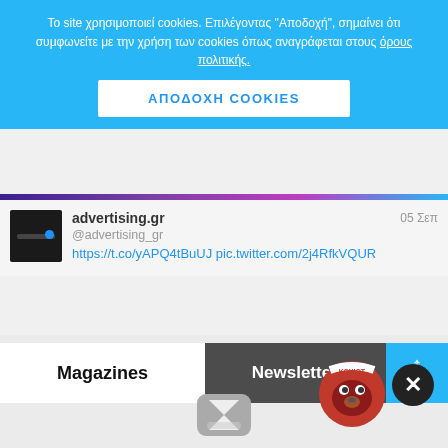Το site χρησιμοποιεί cookies. Επιλέγοντας "Αποδοχή", σημαίνει ότι συμφωνείτε με την χρήση των cookies όπως αναγράφεται στους όρους πολιτικής.
ΑΠΟΔΟΧΗ COOKIES
advertising.gr
@advertising_gr
https://t.co/yAPQ4tBuUJ pic.twitter.com/2j4RfkVQUR
05 Σεπ
[Figure (screenshot): Navigation tabs showing Magazines (white tab), Newsletters (dark gray tab), and a cyan top arrow button]
[Figure (illustration): Gray hourglass icon at bottom center, red KOUIOT animal badge and dark close X button at bottom right]